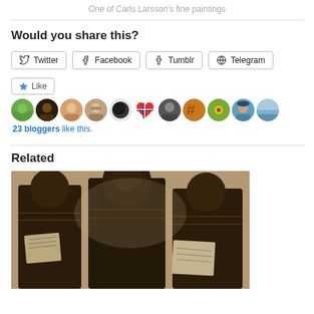One of Carls Larsson's fine paintings
Would you share this?
[Figure (screenshot): Social share buttons: Twitter, Facebook, Tumblr, Telegram]
[Figure (screenshot): Like button and avatars of 23 bloggers who liked this]
23 bloggers like this.
Related
[Figure (photo): Sepia-toned historical photograph of people in uniform reading documents]